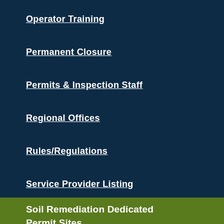Operator Training
Permanent Closure
Permits & Inspection Staff
Regional Offices
Rules/Regulations
Service Provider Listing
Soil Remediation Dedicated Permit Sites
Flood Preparedness for UST